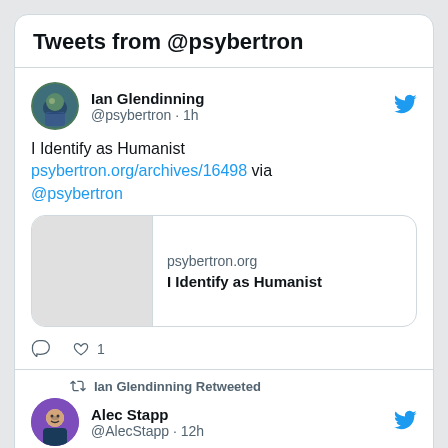Tweets from @psybertron
Ian Glendinning
@psybertron · 1h
I Identify as Humanist psybertron.org/archives/16498 via @psybertron
[Figure (screenshot): Link card preview showing psybertron.org / I Identify as Humanist]
♡ 1
Ian Glendinning Retweeted
Alec Stapp
@AlecStapp · 12h
Whoa, major policy reversal from